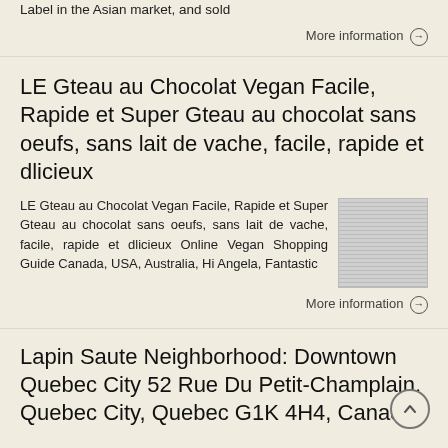Label in the Asian market, and sold
More information →
LE Gteau au Chocolat Vegan Facile, Rapide et Super Gteau au chocolat sans oeufs, sans lait de vache, facile, rapide et dlicieux
LE Gteau au Chocolat Vegan Facile, Rapide et Super Gteau au chocolat sans oeufs, sans lait de vache, facile, rapide et dlicieux Online Vegan Shopping Guide Canada, USA, Australia, Hi Angela, Fantastic
[Figure (photo): Thumbnail image placeholder]
More information →
Lapin Saute Neighborhood: Downtown Quebec City 52 Rue Du Petit-Champlain, Quebec City, Quebec G1K 4H4, Canada